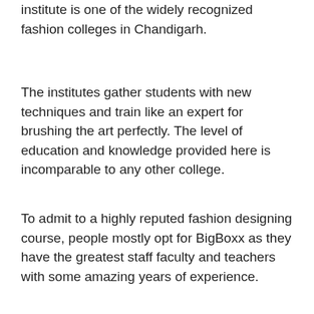situated again in sector 9 in Chandigarh, the institute is one of the widely recognized fashion colleges in Chandigarh.
The institutes gather students with new techniques and train like an expert for brushing the art perfectly. The level of education and knowledge provided here is incomparable to any other college.
To admit to a highly reputed fashion designing course, people mostly opt for BigBoxx as they have the greatest staff faculty and teachers with some amazing years of experience.